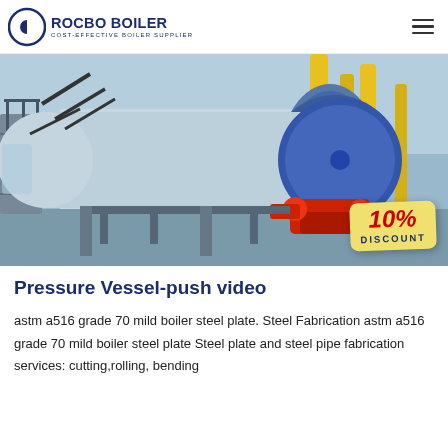[Figure (logo): Rocbo Boiler logo with circular icon and text 'ROCBO BOILER - COST-EFFECTIVE BOILER SUPPLIER']
[Figure (photo): Industrial boiler in a factory setting — large blue cylindrical pressure vessel with red burner assembly, yellow pipework, steel staircases and supports. A '10% DISCOUNT' badge overlaid in bottom-right corner.]
Pressure Vessel-push video
astm a516 grade 70 mild boiler steel plate. Steel Fabrication astm a516 grade 70 mild boiler steel plate Steel plate and steel pipe fabrication services: cutting,rolling, bending